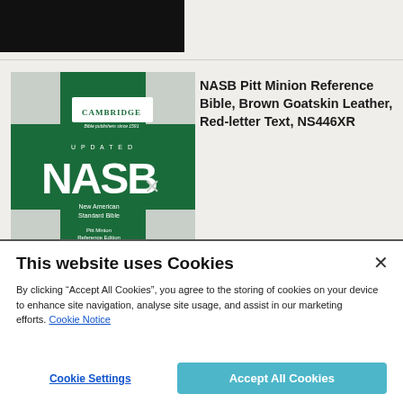[Figure (photo): Dark/black top image area, partial book or product image]
[Figure (photo): NASB Pitt Minion Reference Bible book cover - Cambridge edition, green and grey design with NASB lettering]
NASB Pitt Minion Reference Bible, Brown Goatskin Leather, Red-letter Text, NS446XR
This website uses Cookies
By clicking “Accept All Cookies”, you agree to the storing of cookies on your device to enhance site navigation, analyse site usage, and assist in our marketing efforts. Cookie Notice
Cookie Settings
Accept All Cookies